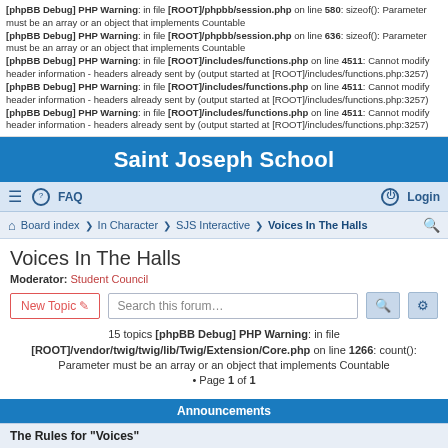[phpBB Debug] PHP Warning: in file [ROOT]/phpbb/session.php on line 580: sizeof(): Parameter must be an array or an object that implements Countable
[phpBB Debug] PHP Warning: in file [ROOT]/phpbb/session.php on line 636: sizeof(): Parameter must be an array or an object that implements Countable
[phpBB Debug] PHP Warning: in file [ROOT]/includes/functions.php on line 4511: Cannot modify header information - headers already sent by (output started at [ROOT]/includes/functions.php:3257)
[phpBB Debug] PHP Warning: in file [ROOT]/includes/functions.php on line 4511: Cannot modify header information - headers already sent by (output started at [ROOT]/includes/functions.php:3257)
[phpBB Debug] PHP Warning: in file [ROOT]/includes/functions.php on line 4511: Cannot modify header information - headers already sent by (output started at [ROOT]/includes/functions.php:3257)
Saint Joseph School
FAQ  Login
Board index › In Character › SJS Interactive › Voices In The Halls
Voices In The Halls
Moderator: Student Council
New Topic  Search this forum…
15 topics [phpBB Debug] PHP Warning: in file [ROOT]/vendor/twig/twig/lib/Twig/Extension/Core.php on line 1266: count(): Parameter must be an array or an object that implements Countable • Page 1 of 1
Announcements
The Rules for "Voices"